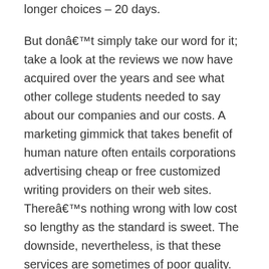longer choices – 20 days.
But donât simply take our word for it; take a look at the reviews we now have acquired over the years and see what other college students needed to say about our companies and our costs. A marketing gimmick that takes benefit of human nature often entails corporations advertising cheap or free customized writing providers on their web sites. Thereâs nothing wrong with low cost so lengthy as the standard is sweet. The downside, nevertheless, is that these services are sometimes of poor quality. We are a dependable, elite firm with years of expertise providing high-quality educational writing services accessible to all, irrespective of social class.
â¢ Very few students have a steady cash move to make orders. Thatâs why we indicate every time platforms provide discounts or have bonuses which can help you still make orders each time youâre low on funds. â¢